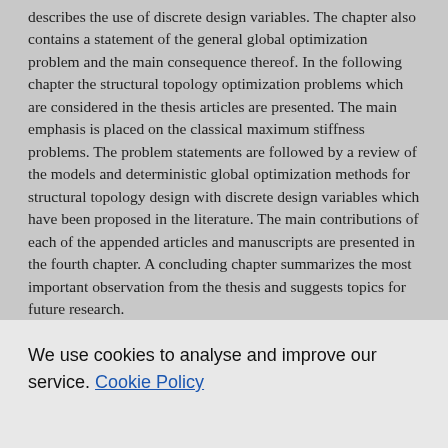describes the use of discrete design variables. The chapter also contains a statement of the general global optimization problem and the main consequence thereof. In the following chapter the structural topology optimization problems which are considered in the thesis articles are presented. The main emphasis is placed on the classical maximum stiffness problems. The problem statements are followed by a review of the models and deterministic global optimization methods for structural topology design with discrete design variables which have been proposed in the literature. The main contributions of each of the appended articles and manuscripts are presented in the fourth chapter. A concluding chapter summarizes the most important observation from the thesis and suggests topics for future research.
The structural topology optimization problems that are studied in this thesis are all intrinsically non-convex and can, in their natural formulations, normally not be solved to global optimality. Hence, most of the articles in this thesis rely on equivalent
We use cookies to analyse and improve our service. Cookie Policy